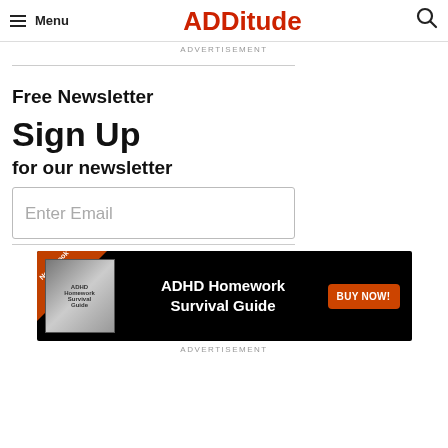Menu | ADDitude
ADVERTISEMENT
Free Newsletter
Sign Up
for our newsletter
Enter Email
[Figure (infographic): ADHD Homework Survival Guide advertisement banner with New eBook badge, book image, text and BUY NOW button]
ADVERTISEMENT